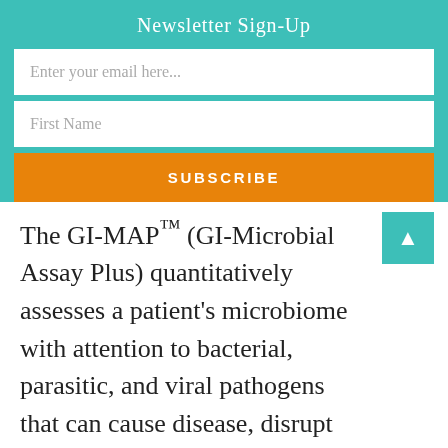Newsletter Sign-Up
Enter your email here...
First Name
SUBSCRIBE
The GI-MAP™ (GI-Microbial Assay Plus) quantitatively assesses a patient's microbiome with attention to bacterial, parasitic, and viral pathogens that can cause disease, disrupt the normal microbial balance, and contribute to chronic GI illness. Diagnostic Solutions Laboratory utilizes proven qPCR